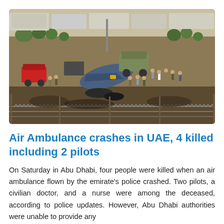[Figure (photo): Aerial crash scene showing a downed aircraft with emergency vehicles, trucks, and personnel surrounding the wreckage on a dusty field with barbed wire fencing in the foreground.]
Air Ambulance crashes in UAE, 4 killed including 2 pilots
On Saturday in Abu Dhabi, four people were killed when an air ambulance flown by the emirate's police crashed. Two pilots, a civilian doctor, and a nurse were among the deceased, according to police updates. However, Abu Dhabi authorities were unable to provide any